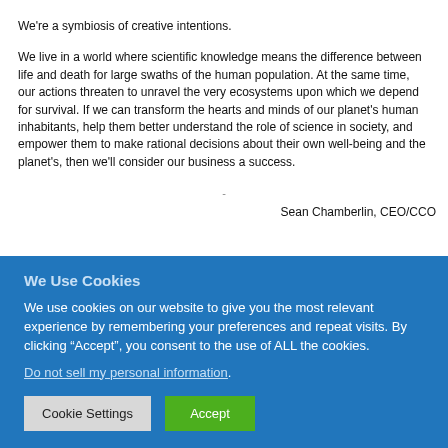We're a symbiosis of creative intentions.
We live in a world where scientific knowledge means the difference between life and death for large swaths of the human population. At the same time, our actions threaten to unravel the very ecosystems upon which we depend for survival. If we can transform the hearts and minds of our planet's human inhabitants, help them better understand the role of science in society, and empower them to make rational decisions about their own well-being and the planet's, then we'll consider our business a success.
-
Sean Chamberlin, CEO/CCO
We Use Cookies
We use cookies on our website to give you the most relevant experience by remembering your preferences and repeat visits. By clicking “Accept”, you consent to the use of ALL the cookies.
Do not sell my personal information.
Cookie Settings
Accept